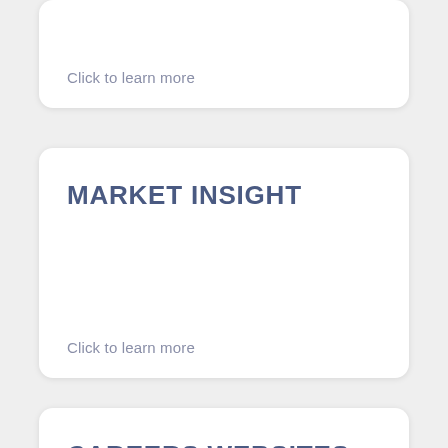Click to learn more
MARKET INSIGHT
Click to learn more
CAREERS WEBSITES